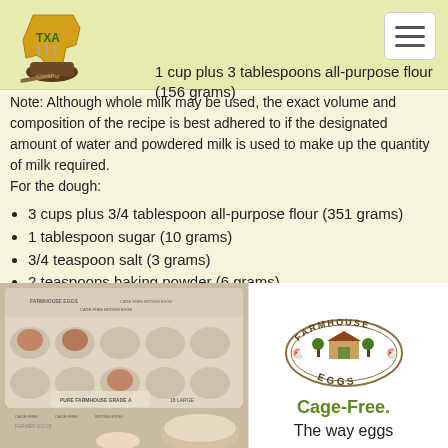Texas Cooking - navigation logo and menu
1 cup plus 3 tablespoons all-purpose flour (156 grams)
Note: Although whole milk may be used, the exact volume and composition of the recipe is best adhered to if the designated amount of water and powdered milk is used to make up the quantity of milk required.
For the dough:
3 cups plus 3/4 tablespoon all-purpose flour (351 grams)
1 tablespoon sugar (10 grams)
3/4 teaspoon salt (3 grams)
2 teaspoons baking powder (6 grams)
1/4 teaspoon cream of tartar (1 gram)
1/3 cup butter-flavored Crisco (73 grams)
1/2 teaspoon baking soda (1 gram)
[Figure (photo): Photo of egg carton with cage-free brown eggs, Farmhouse Eggs Grade A]
[Figure (logo): Farmhouse Eggs circular logo with text Cage-Free. The way eggs...]